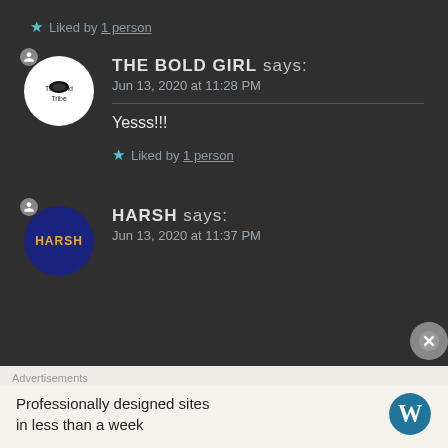★ Liked by 1 person
THE BOLD GIRL says: Jun 13, 2020 at 11:28 PM
Yesss!!!
★ Liked by 1 person
HARSH says: Jun 13, 2020 at 11:37 PM
Advertisements
Professionally designed sites in less than a week